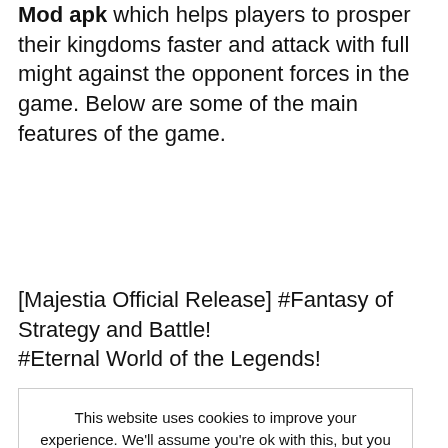Mod apk which helps players to prosper their kingdoms faster and attack with full might against the opponent forces in the game. Below are some of the main features of the game.
[Majestia Official Release] #Fantasy of Strategy and Battle!
#Eternal World of the Legends!
This website uses cookies to improve your experience. We'll assume you're ok with this, but you can opt-out if you wish. Accept Privacy Policy